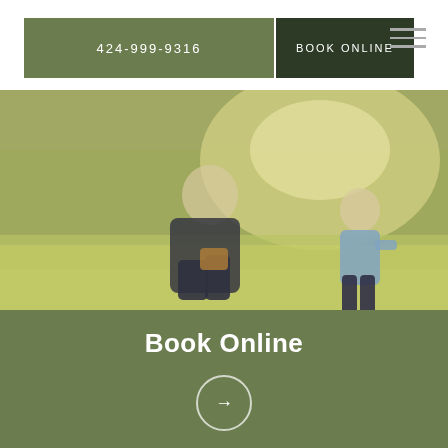424-999-9316
BOOK ONLINE
[Figure (photo): Outdoor daytime photo of a woman kneeling on the ground in a park or garden, with a child standing nearby in a blue outfit. Green blurred trees visible in the background with bright sunlight.]
Book Online